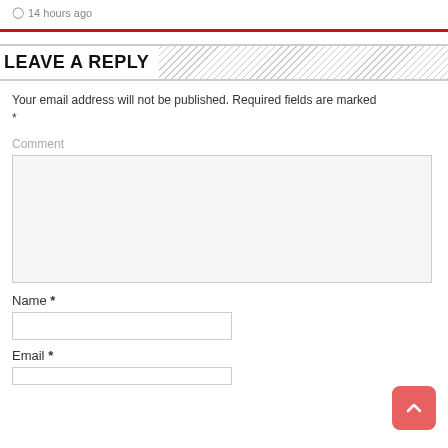14 hours ago
LEAVE A REPLY
Your email address will not be published. Required fields are marked *
Comment
Name *
Email *